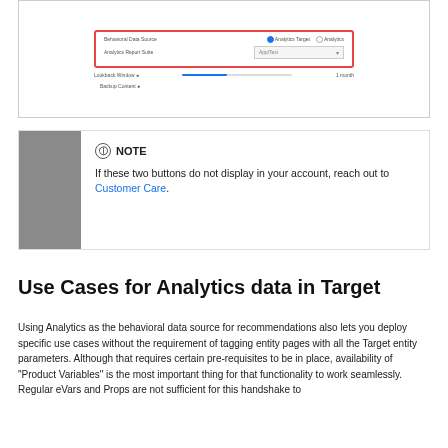[Figure (screenshot): UI screenshot showing a form with radio buttons for Analytics Target / Analytics, a dropdown for Analytics Report Suite, a lookup window slider, and a Backup Content option. The form is outlined in red.]
NOTE
If these two buttons do not display in your account, reach out to Customer Care.
Use Cases for Analytics data in Target
Using Analytics as the behavioral data source for recommendations also lets you deploy specific use cases without the requirement of tagging entity pages with all the Target entity parameters. Although that requires certain pre-requisites to be in place, availability of "Product Variables" is the most important thing for that functionality to work seamlessly. Regular eVars and Props are not sufficient for this handshake to